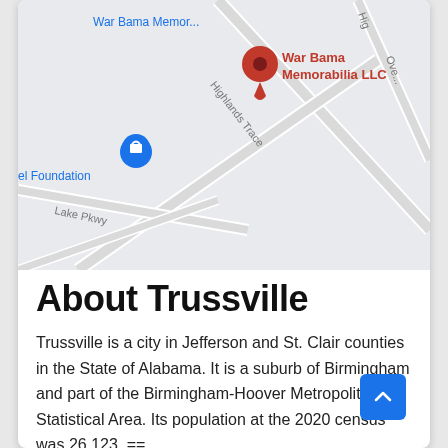[Figure (map): Google Maps screenshot showing War Bama Memorabilia LLC location with red pin marker. Streets visible include Highlands Trace and Lake Pkwy. A blue location pin for 'el Foundation' is visible. Road labels: Highlands Trace, Lake Pkwy, Hig... (cropped). Map background is light gray with white roads.]
About Trussville
Trussville is a city in Jefferson and St. Clair counties in the State of Alabama. It is a suburb of Birmingham and part of the Birmingham-Hoover Metropolitan Statistical Area. Its population at the 2020 census was 26,123. ==